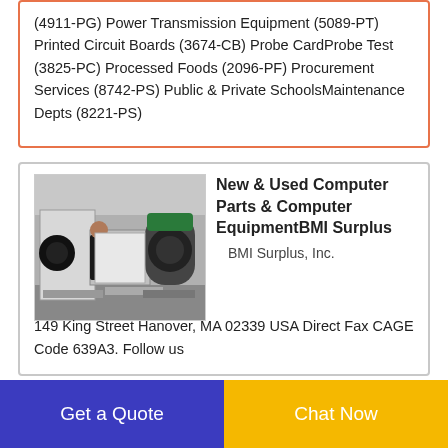(4911-PG) Power Transmission Equipment (5089-PT) Printed Circuit Boards (3674-CB) Probe CardProbe Test (3825-PC) Processed Foods (2096-PF) Procurement Services (8742-PS) Public & Private SchoolsMaintenance Depts (8221-PS)
[Figure (photo): Industrial machinery equipment with a person standing next to large machines in a warehouse setting]
New & Used Computer Parts & Computer EquipmentBMI Surplus
BMI Surplus, Inc.
149 King Street Hanover, MA 02339 USA Direct Fax CAGE Code 639A3. Follow us
Get a Quote
Chat Now